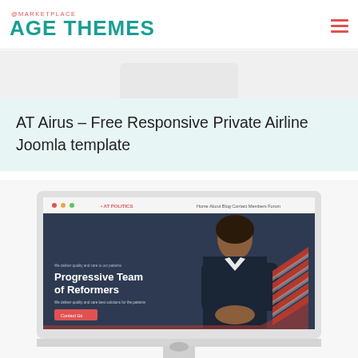@MARKETPLACE AGE THEMES
[Figure (screenshot): Partial top of a desktop monitor mockup showing a light grey monitor bezel and stand top]
AT Airus – Free Responsive Private Airline Joomla template
[Figure (screenshot): Desktop monitor mockup displaying the AT Airus Joomla template website with a dark navy header, a woman in business attire, red and white diagonal stripes, and the headline 'Progressive Team of Reformers']